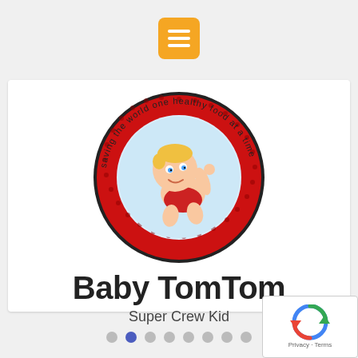Menu icon / navigation header bar
[Figure (logo): Baby TomTom logo: circular badge with red outer ring and halftone dots, light blue inner circle, cartoon baby with blonde hair wearing red outfit, curved text reading 'saving the world one healthy food at a time' around the top arc]
Baby TomTom
Super Crew Kid
[Figure (other): Carousel navigation dots: 8 dots total, second dot highlighted in blue/indigo, rest are grey]
[Figure (other): reCAPTCHA badge bottom right with Privacy and Terms text]